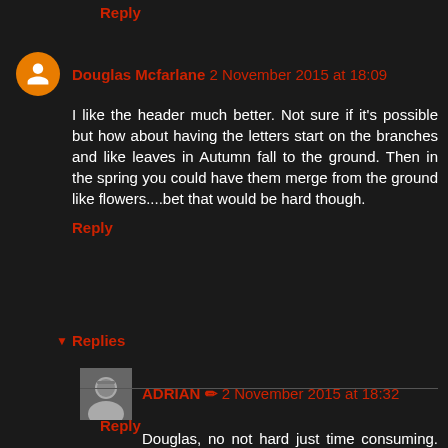Reply
Douglas Mcfarlane 2 November 2015 at 18:09
I like the header much better. Not sure if it's possible but how about having the letters start on the branches and like leaves in Autumn fall to the ground. Then in the spring you could have them merge from the ground like flowers....bet that would be hard though.
Reply
Replies
ADRIAN 2 November 2015 at 18:32
Douglas, no not hard just time consuming. I'll have a go tomorrow as it looks as if it is going to rain again.
Reply